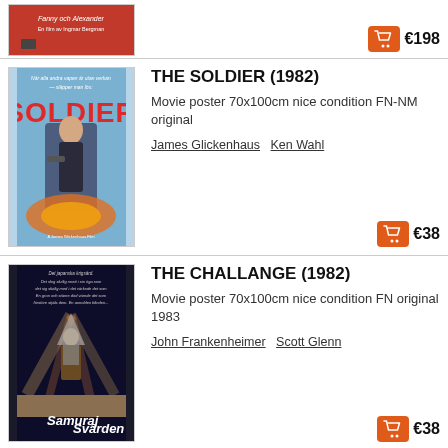[Figure (photo): Partial movie poster at top of page, partially cropped]
€198
THE SOLDIER (1982)
Movie poster 70x100cm nice condition FN-NM original
James Glickenhaus Ken Wahl
€38
[Figure (photo): Movie poster for The Soldier (1982) showing a man with a gun against an action background. Swedish text. Title: SOLDIER]
THE CHALLANGE (1982)
Movie poster 70x100cm nice condition FN original 1983
John Frankenheimer Scott Glenn
€38
[Figure (photo): Movie poster for The Challenge (1982) showing sci-fi/samurai action imagery. Swedish text: Samuraj Svärden]